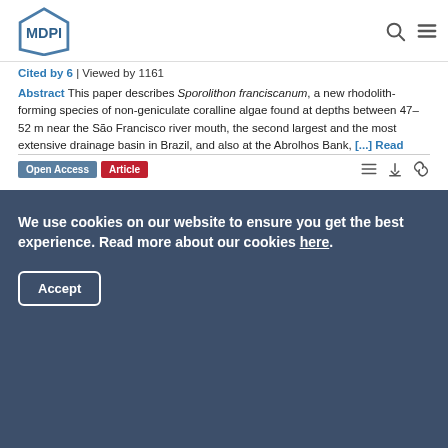MDPI
Cited by 6 | Viewed by 1161
Abstract This paper describes Sporolithon franciscanum, a new rhodolith-forming species of non-geniculate coralline algae found at depths between 47–52 m near the São Francisco river mouth, the second largest and the most extensive drainage basin in Brazil, and also at the Abrolhos Bank, [...] Read more.
(This article belongs to the Special Issue Structure and Biodiversity of Rhodolith Seabeds)
► Show Figures
Open Access  Article
We use cookies on our website to ensure you get the best experience. Read more about our cookies here.
Accept